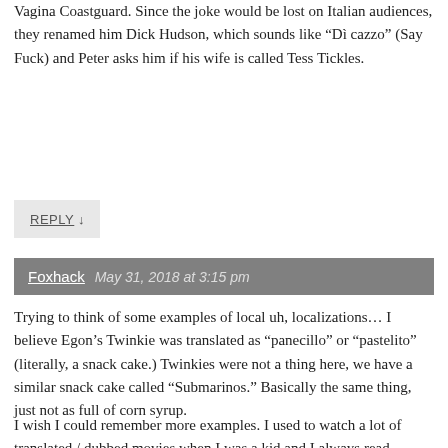Vagina Coastguard. Since the joke would be lost on Italian audiences, they renamed him Dick Hudson, which sounds like “Dì cazzo” (Say Fuck) and Peter asks him if his wife is called Tess Tickles.
REPLY ↓
Foxhack   May 31, 2018 at 3:15 pm
Trying to think of some examples of local uh, localizations… I believe Egon’s Twinkie was translated as “panecillo” or “pastelito” (literally, a snack cake.) Twinkies were not a thing here, we have a similar snack cake called “Submarinos.” Basically the same thing, just not as full of corn syrup.
I wish I could remember more examples. I used to watch a lot of translated / dubbed movies when I was a kid and I always read